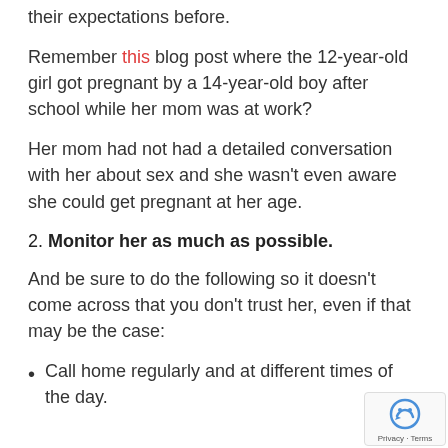their expectations before.
Remember this blog post where the 12-year-old girl got pregnant by a 14-year-old boy after school while her mom was at work?
Her mom had not had a detailed conversation with her about sex and she wasn't even aware she could get pregnant at her age.
2. Monitor her as much as possible.
And be sure to do the following so it doesn't come across that you don't trust her, even if that may be the case:
Call home regularly and at different times of the day.